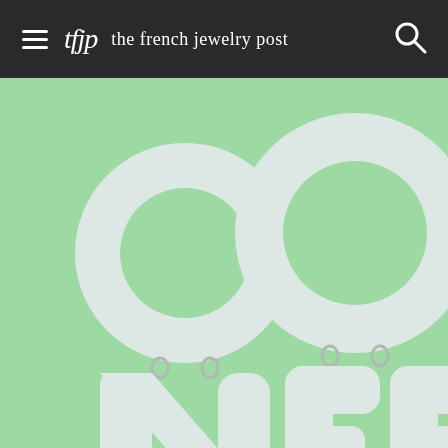tfjp the french jewelry post
[Figure (photo): Two silver/white letter earrings spelling 'ON' and 'OFF' on a mint green background. The earrings are large statement pieces shaped like bold letters: O on top with N hanging below (left earring), and O on top with FF hanging below (right earring). The letters are light lavender/white colored with silver jump rings connecting the letter parts.]